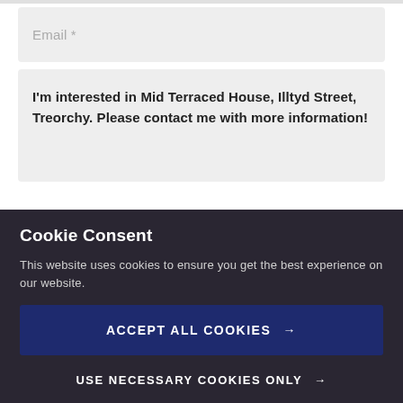Email *
I'm interested in Mid Terraced House, Illtyd Street, Treorchy. Please contact me with more information!
Cookie Consent
This website uses cookies to ensure you get the best experience on our website.
ACCEPT ALL COOKIES →
USE NECESSARY COOKIES ONLY →